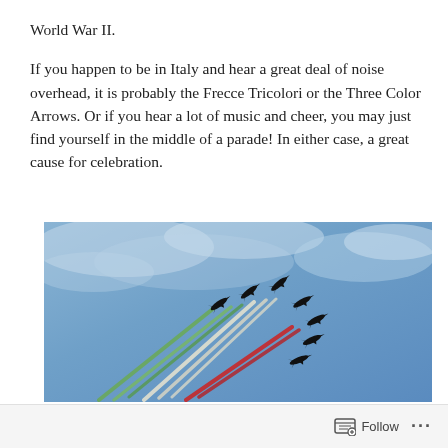World War II.
If you happen to be in Italy and hear a great deal of noise overhead, it is probably the Frecce Tricolori or the Three Color Arrows. Or if you hear a lot of music and cheer, you may just find yourself in the middle of a parade! In either case, a great cause for celebration.
[Figure (photo): Italian Frecce Tricolori aerobatic team aircraft flying in formation, leaving green, white, and red smoke trails against a blue cloudy sky.]
Follow ...